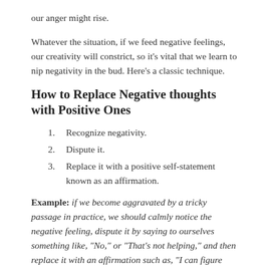our anger might rise.
Whatever the situation, if we feed negative feelings, our creativity will constrict, so it’s vital that we learn to nip negativity in the bud. Here’s a classic technique.
How to Replace Negative thoughts with Positive Ones
1. Recognize negativity.
2. Dispute it.
3. Replace it with a positive self-statement known as an affirmation.
Example: if we become aggravated by a tricky passage in practice, we should calmly notice the negative feeling, dispute it by saying to ourselves something like, “No,” or “That’s not helping,” and then replace it with an affirmation such as, “I can figure this out and enjoy the process.” At the same